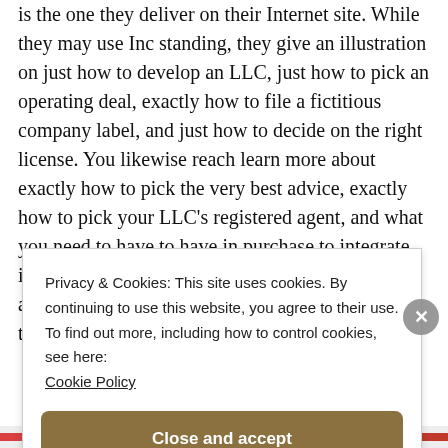is the one they deliver on their Internet site. While they may use Inc standing, they give an illustration on just how to develop an LLC, just how to pick an operating deal, exactly how to file a fictitious company label, and just how to decide on the right license. You likewise reach learn more about exactly how to pick the very best advice, exactly how to pick your LLC's registered agent, and what you need to have to have in purchase to integrate in Nevada. The whole entire web site pays attention to the 3 primary parts to help you make the
Privacy & Cookies: This site uses cookies. By continuing to use this website, you agree to their use.
To find out more, including how to control cookies, see here: Cookie Policy
Close and accept